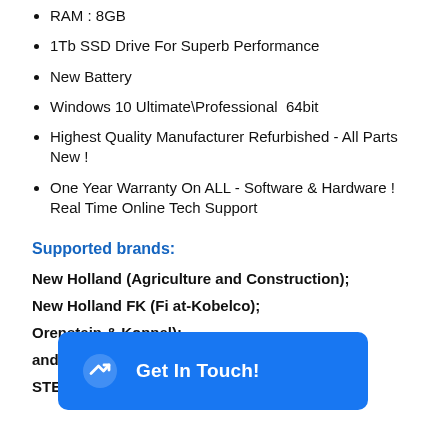RAM : 8GB
1Tb SSD Drive For Superb Performance
New Battery
Windows 10 Ultimate\Professional  64bit
Highest Quality Manufacturer Refurbished - All Parts New !
One Year Warranty On ALL - Software & Hardware ! Real Time Online Tech Support
Supported brands:
New Holland (Agriculture and Construction);
New Holland FK (Fi at-Kobelco);
Orenstein & Koppel);
and Construction);
STEYR: